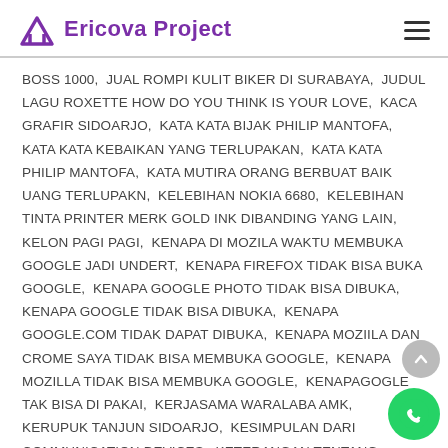Ericova Project
BOSS 1000,  JUAL ROMPI KULIT BIKER DI SURABAYA,  JUDUL LAGU ROXETTE HOW DO YOU THINK IS YOUR LOVE,  KACA GRAFIR SIDOARJO,  KATA KATA BIJAK PHILIP MANTOFA,  KATA KATA KEBAIKAN YANG TERLUPAKAN,  KATA KATA PHILIP MANTOFA,  KATA MUTIRA ORANG BERBUAT BAIK UANG TERLUPAKN,  KELEBIHAN NOKIA 6680,  KELEBIHAN TINTA PRINTER MERK GOLD INK DIBANDING YANG LAIN,  KELON PAGI PAGI,  KENAPA DI MOZILA WAKTU MEMBUKA GOOGLE JADI UNDERT,  KENAPA FIREFOX TIDAK BISA BUKA GOOGLE,  KENAPA GOOGLE PHOTO TIDAK BISA DIBUKA,  KENAPA GOOGLE TIDAK BISA DIBUKA,  KENAPA GOOGLE.COM TIDAK DAPAT DIBUKA,  KENAPA MOZIILA DAN CROME SAYA TIDAK BISA MEMBUKA GOOGLE,  KENAPA MOZILLA TIDAK BISA MEMBUKA GOOGLE,  KENAPAGOGLE TAK BISA DI PAKAI,  KERJASAMA WARALABA AMK,  KERUPUK TANJUN SIDOARJO,  KESIMPULAN DARI COMMUNICATION DEVICES,  KETERANGAN TENTANG KOMUNICATION DEVICE,  KEUNGGULAN